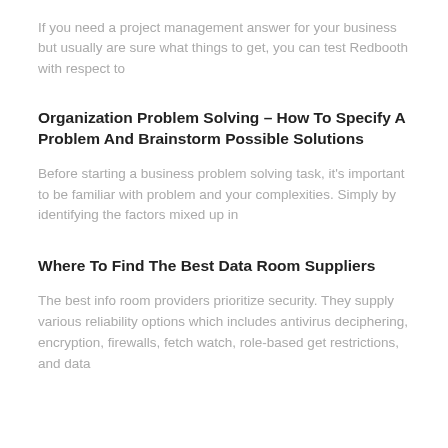If you need a project management answer for your business but usually are sure what things to get, you can test Redbooth with respect to
Organization Problem Solving – How To Specify A Problem And Brainstorm Possible Solutions
Before starting a business problem solving task, it's important to be familiar with problem and your complexities. Simply by identifying the factors mixed up in
Where To Find The Best Data Room Suppliers
The best info room providers prioritize security. They supply various reliability options which includes antivirus deciphering, encryption, firewalls, fetch watch, role-based get restrictions, and data